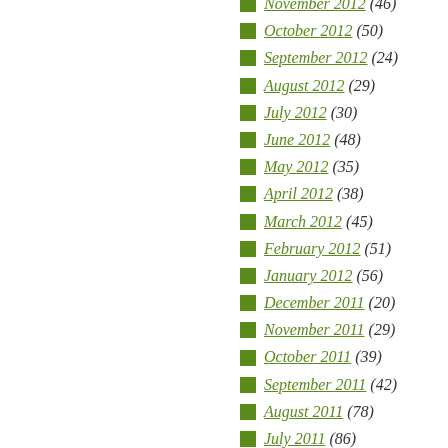November 2012 (46)
October 2012 (50)
September 2012 (24)
August 2012 (29)
July 2012 (30)
June 2012 (48)
May 2012 (35)
April 2012 (38)
March 2012 (45)
February 2012 (51)
January 2012 (56)
December 2011 (20)
November 2011 (29)
October 2011 (39)
September 2011 (42)
August 2011 (78)
July 2011 (86)
June 2011 (80)
May 2011 (128)
April 2011 (170)
March 2011 (139)
February 2011 (90)
January 2011 (99)
December 2010 (106)
November 2010 (90)